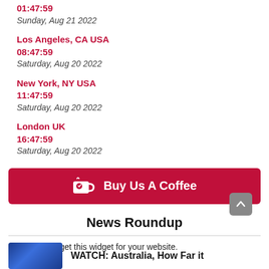01:47:59
Sunday, Aug 21 2022
Los Angeles, CA USA
08:47:59
Saturday, Aug 20 2022
New York, NY USA
11:47:59
Saturday, Aug 20 2022
London UK
16:47:59
Saturday, Aug 20 2022
[Figure (other): Buy Us A Coffee button with coffee cup icon]
News Roundup
Click here to get this widget for your website.
[Figure (screenshot): WATCH: Australia, How Far it thumbnail]